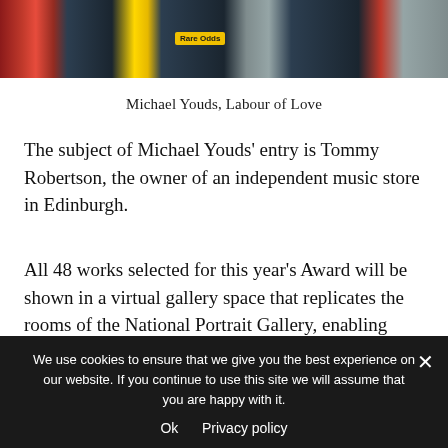[Figure (photo): Cropped photograph showing colourful items in what appears to be a music or record store, with a yellow 'Rare Odds' label visible]
Michael Youds, Labour of Love
The subject of Michael Youds' entry is Tommy Robertson, the owner of an independent music store in Edinburgh.
All 48 works selected for this year's Award will be shown in a virtual gallery space that replicates the rooms of the National Portrait Gallery, enabling online visitors to view the portraits collectively,
We use cookies to ensure that we give you the best experience on our website. If you continue to use this site we will assume that you are happy with it.
Ok   Privacy policy